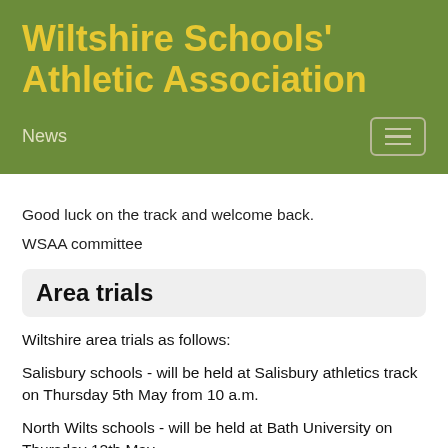Wiltshire Schools' Athletic Association
News
Good luck on the track and welcome back.
WSAA committee
Area trials
Wiltshire area trials as follows:
Salisbury schools - will be held at Salisbury athletics track on Thursday 5th May from 10 a.m.
North Wilts schools - will be held at Bath University on Thursday 12th May
Kennet schools - to be held at Dauntsey's School on Wednesday 18th May